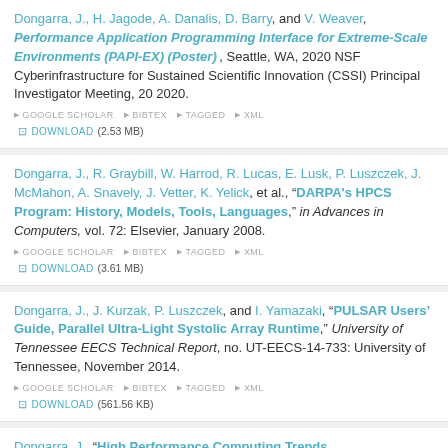Dongarra, J., H. Jagode, A. Danalis, D. Barry, and V. Weaver, Performance Application Programming Interface for Extreme-Scale Environments (PAPI-EX) (Poster), Seattle, WA, 2020 NSF Cyberinfrastructure for Sustained Scientific Innovation (CSSI) Principal Investigator Meeting, 20 2020. GOOGLE SCHOLAR BIBTEX TAGGED XML DOWNLOAD (2.53 MB)
Dongarra, J., R. Graybill, W. Harrod, R. Lucas, E. Lusk, P. Luszczek, J. McMahon, A. Snavely, J. Vetter, K. Yelick, et al., "DARPA's HPCS Program: History, Models, Tools, Languages," in Advances in Computers, vol. 72: Elsevier, January 2008. GOOGLE SCHOLAR BIBTEX TAGGED XML DOWNLOAD (3.61 MB)
Dongarra, J., J. Kurzak, P. Luszczek, and I. Yamazaki, "PULSAR Users' Guide, Parallel Ultra-Light Systolic Array Runtime," University of Tennessee EECS Technical Report, no. UT-EECS-14-733: University of Tennessee, November 2014. GOOGLE SCHOLAR BIBTEX TAGGED XML DOWNLOAD (561.56 KB)
Dongarra, J., "High Performance Computing Trends,